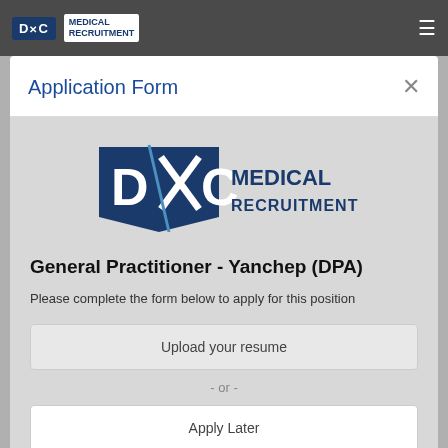[Figure (logo): DXC Medical Recruitment logo in top navigation bar]
Application Form
[Figure (logo): DXC Medical Recruitment logo large in modal body]
General Practitioner - Yanchep (DPA)
Please complete the form below to apply for this position
Upload your resume
- or -
Apply Later